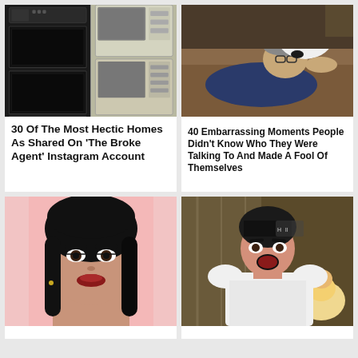[Figure (photo): Two kitchen ovens/microwave appliances side by side - a modern double wall oven and an older white microwave/oven combo]
30 Of The Most Hectic Homes As Shared On 'The Broke Agent' Instagram Account
[Figure (photo): Man lying on couch with a dog or cat licking/nuzzling his face]
40 Embarrassing Moments People Didn't Know Who They Were Talking To And Made A Fool Of Themselves
[Figure (photo): Young woman with dark hair and bold makeup on pink background, close-up portrait]
[Figure (photo): Woman in white dress appearing to yell or argue, with another person partially visible in background]